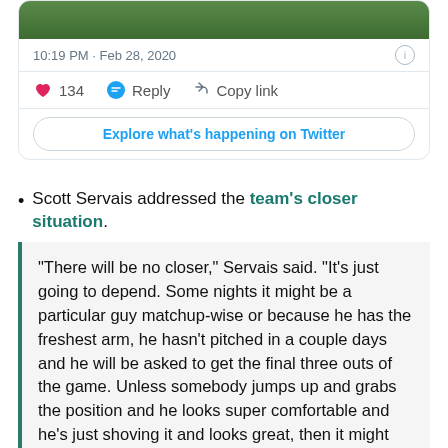[Figure (screenshot): Twitter/social media card showing tweet timestamp, like count, reply and copy link actions, and Explore button]
Scott Servais addressed the team's closer situation.
“There will be no closer,” Servais said. “It’s just going to depend. Some nights it might be a particular guy matchup-wise or because he has the freshest arm, he hasn’t pitched in a couple days and he will be asked to get the final three outs of the game. Unless somebody jumps up and grabs the position and he looks super comfortable and he’s just shoving it and looks great, then it might grow into that. But right